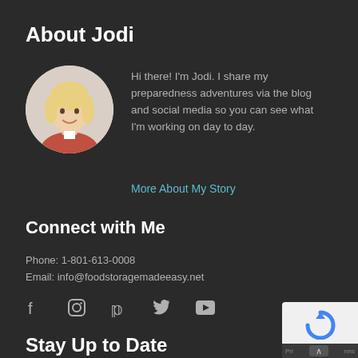About Jodi
[Figure (photo): Circular portrait photo of a smiling blonde woman in a red/coral top]
Hi there! I'm Jodi. I share my preparedness adventures via the blog and social media so you can see what I'm working on day to day.
More About My Story
Connect with Me
Phone: 1-801-613-0008
Email: info@foodstoragemadeeasy.net
[Figure (infographic): Social media icons row: Facebook, Instagram, Pinterest, Twitter, YouTube]
Stay Up to Date